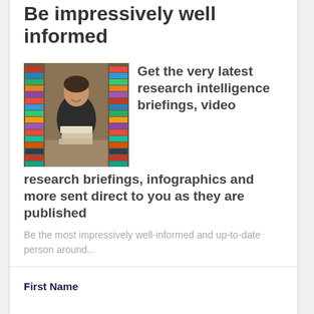Be impressively well informed
[Figure (photo): Woman smiling in a library aisle holding a stack of books, with bookshelves on both sides]
Get the very latest research intelligence briefings, video research briefings, infographics and more sent direct to you as they are published
Be the most impressively well-informed and up-to-date person around...
First Name